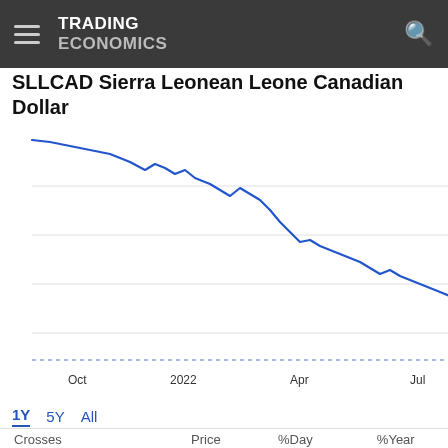TRADING ECONOMICS
SLLCAD Sierra Leonean Leone Canadian Dollar
[Figure (continuous-plot): Line chart showing SLLCAD (Sierra Leonean Leone to Canadian Dollar) exchange rate over 1 year, with a downward trend from approximately 0.000115 in Oct 2021 to 0.0000925 in mid-2022. X-axis labels: Oct, 2022, Apr, Jul. Y-axis labels: 0.00011, 0.000105, 0.00010, 0.000095, 0.0000925 (current price shown in blue box). The line is blue showing a continuous decline with some volatility. A horizontal dotted blue reference line appears near the bottom.]
1Y 5Y All
| Crosses | Price | %Day | %Year |
| --- | --- | --- | --- |